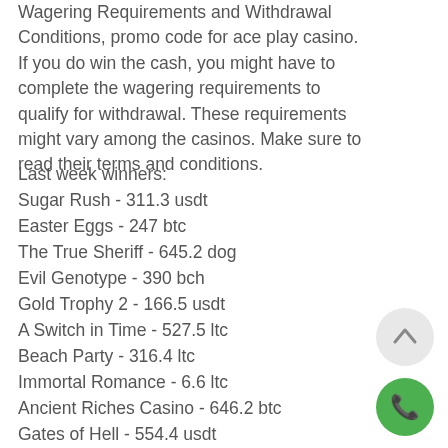Wagering Requirements and Withdrawal Conditions, promo code for ace play casino. If you do win the cash, you might have to complete the wagering requirements to qualify for withdrawal. These requirements might vary among the casinos. Make sure to read their terms and conditions.
Last week winners:
Sugar Rush - 311.3 usdt
Easter Eggs - 247 btc
The True Sheriff - 645.2 dog
Evil Genotype - 390 bch
Gold Trophy 2 - 166.5 usdt
A Switch in Time - 527.5 ltc
Beach Party - 316.4 ltc
Immortal Romance - 6.6 ltc
Ancient Riches Casino - 646.2 btc
Gates of Hell - 554.4 usdt
SteamPunk Big City - 335.7 btc
Lost Temple - 735.6 dog
7th Heaven - 514 ltc
[Figure (other): Circular scroll-to-top button with upward chevron arrow]
[Figure (other): Green circular phone/call button with phone icon]